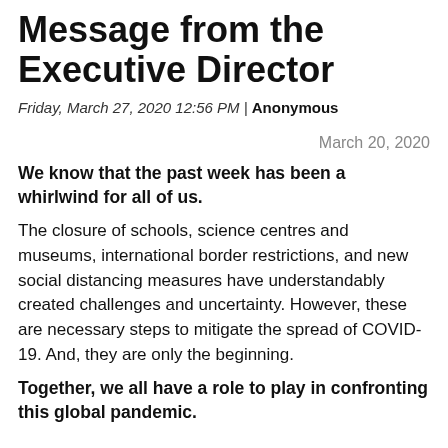Message from the Executive Director
Friday, March 27, 2020 12:56 PM | Anonymous
March 20, 2020
We know that the past week has been a whirlwind for all of us.
The closure of schools, science centres and museums, international border restrictions, and new social distancing measures have understandably created challenges and uncertainty. However, these are necessary steps to mitigate the spread of COVID-19. And, they are only the beginning.
Together, we all have a role to play in confronting this global pandemic.